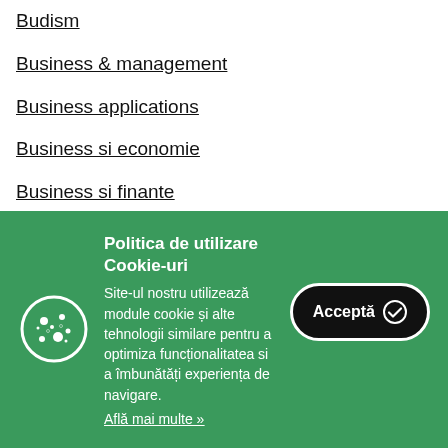Budism
Business & management
Business applications
Business si economie
Business si finante
Business, economie, finante
Buzz Books
Politica de utilizare Cookie-uri
Site-ul nostru utilizează module cookie și alte tehnologii similare pentru a optimiza funcționalitatea si a îmbunătăți experiența de navigare.
Află mai multe »
Acceptă